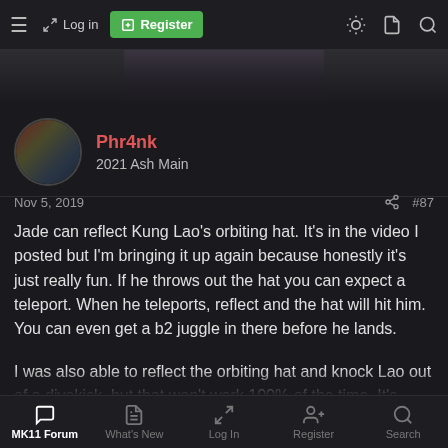This website is full of morons that can't handle the sound of you if you say things they don't know about... the sound of...
[Figure (screenshot): Partial image strip visible behind nav bar]
Phr4nk
2021 Ash Main
Nov 5, 2019  #87
Jade can reflect Kung Lao's orbiting hat. It's in the video I posted but I'm bringing it up again because honestly it's just really fun. If he throws out the hat you can expect a teleport. When he teleports, reflect and the hat will hit him. You can even get a b2 juggle in there before he lands.

I was also able to reflect the orbiting hat and knock Lao out of a divekick, but that won't work 100% of the time. It's really dependent on where the hat is in its rotation when the divekick lands.
MK11 Forum  What's New  Log In  Register  Search